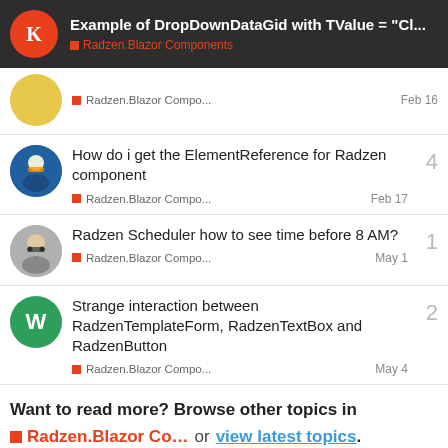Example of DropDownDataGid with TValue = "Cl... | Radzen.Blazor Components
Radzen.Blazor Compo... Feb 16
How do i get the ElementReference for Radzen component | Radzen.Blazor Compo... Feb 17 | 4 replies
Radzen Scheduler how to see time before 8 AM? | Radzen.Blazor Compo... May 1 | 1 reply
Strange interaction between RadzenTemplateForm, RadzenTextBox and RadzenButton | Radzen.Blazor Compo... May 4 | 2 replies
Want to read more? Browse other topics in Radzen.Blazor Co... or view latest topics.